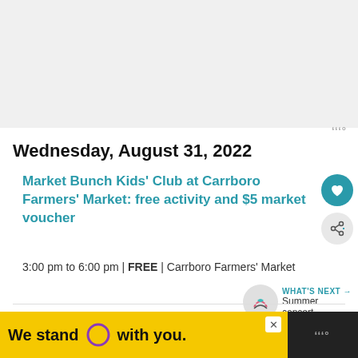[Figure (other): Advertisement banner placeholder (gray box) at top of page]
Wednesday, August 31, 2022
Market Bunch Kids' Club at Carrboro Farmers' Market: free activity and $5 market voucher
3:00 pm to 6:00 pm | FREE | Carrboro Farmers' Market
Friday, September 2, 2022
[Figure (infographic): Advertisement banner at bottom: yellow background with text 'We stand O with you.' and a purple circle logo, with a close X button]
[Figure (logo): Weather icon in bottom right corner on dark background]